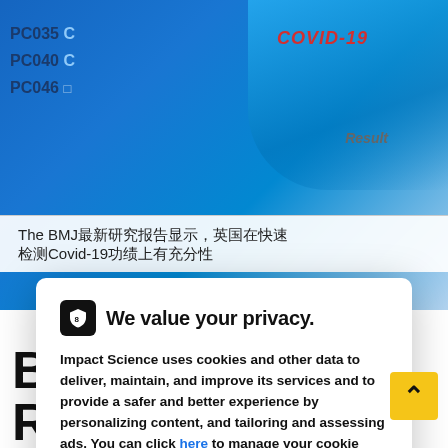[Figure (photo): Background showing COVID-19 rapid test kit with blue latex glove, test result window, and 'COVID-19' red label visible. Left side shows blue-labeled specimen containers with codes PC035, PC040, PC046.]
The BMJ最新研究报告显示，英国在快速检测Covid-19功绩上有充分性
We value your privacy.
Impact Science uses cookies and other data to deliver, maintain, and improve its services and to provide a safer and better experience by personalizing content, and tailoring and assessing ads. You can click here to manage your cookie preferences or click on 'ok' to agree to the usage of all cookies.
Breakthrough
Research Made